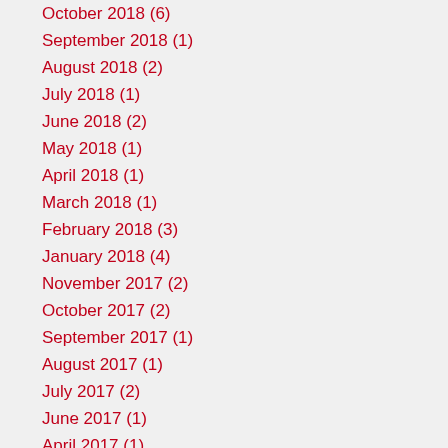October 2018 (6)
September 2018 (1)
August 2018 (2)
July 2018 (1)
June 2018 (2)
May 2018 (1)
April 2018 (1)
March 2018 (1)
February 2018 (3)
January 2018 (4)
November 2017 (2)
October 2017 (2)
September 2017 (1)
August 2017 (1)
July 2017 (2)
June 2017 (1)
April 2017 (1)